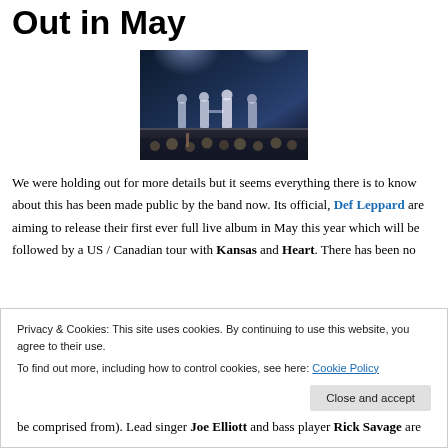Out in May
[Figure (photo): Concert photo showing band members performing on a dark stage with bright lights in background and audience in foreground]
We were holding out for more details but it seems everything there is to know about this has been made public by the band now. Its official, Def Leppard are aiming to release their first ever full live album in May this year which will be followed by a US / Canadian tour with Kansas and Heart. There has been no
Privacy & Cookies: This site uses cookies. By continuing to use this website, you agree to their use.
To find out more, including how to control cookies, see here: Cookie Policy
be comprised from). Lead singer Joe Elliott and bass player Rick Savage are